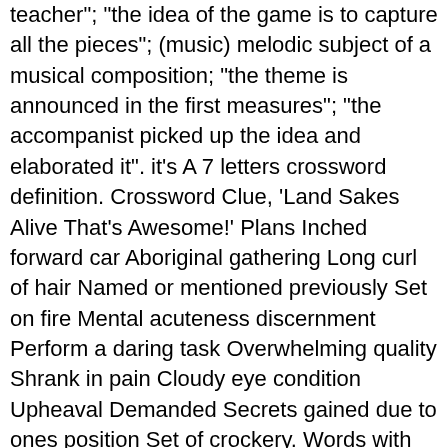teacher"; "the idea of the game is to capture all the pieces"; (music) melodic subject of a musical composition; "the theme is announced in the first measures"; "the accompanist picked up the idea and elaborated it". it's A 7 letters crossword definition. Crossword Clue, 'Land Sakes Alive That's Awesome!' Plans Inched forward car Aboriginal gathering Long curl of hair Named or mentioned previously Set on fire Mental acuteness discernment Perform a daring task Overwhelming quality Shrank in pain Cloudy eye condition Upheaval Demanded Secrets gained due to ones position Set of crockery. Words with Friends is a trademark of Zynga. Optimisation by SEO Sheffield. Crossword puzzle clue "mental image" Enter your clue. We've arranged the … © 2020 Crossword Clue Solver. Answers for mental picture crossword clue. Please find below all the Mental sharpness crossword clue answers and solutions for the Wall Street Journal Crossword October 7 2020 Answers. The possible answerss for Ability are listed below. All intellectual property rights in and to the game are owned in the U.S.A and Canada by Hasbro